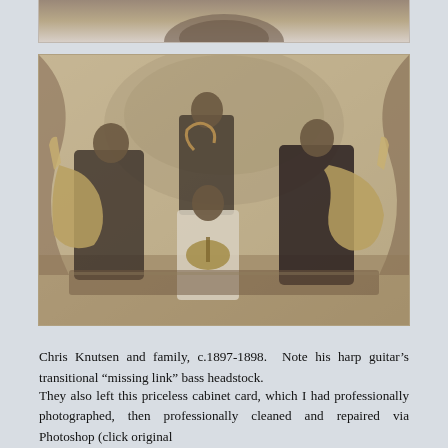[Figure (photo): Partial view of an object at top of page, cropped]
[Figure (photo): Sepia-toned cabinet card photograph of Chris Knutsen and family, c.1897-1898. Four people holding various stringed instruments including harp guitars and a violin, posed in a studio setting.]
Chris Knutsen and family, c.1897-1898.  Note his harp guitar’s transitional “missing link” bass headstock.
They also left this priceless cabinet card, which I had professionally photographed, then professionally cleaned and repaired via Photoshop (click original